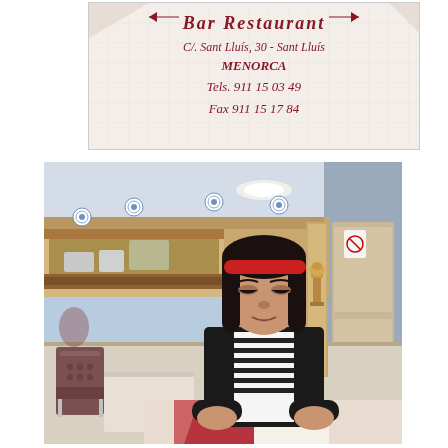[Figure (photo): Close-up photo of a white paper napkin with dark red/maroon printed text showing a Bar Restaurant logo. Text reads: BAR RESTAURANT, C/. SANT LLUÍS, 30 – SANT LLUÍS, MENORCA, Tels. 911 15 03 49, Fax 911 15 17 84]
[Figure (photo): Interior photo of a bar restaurant with wooden paneling, blue decorative plates on the walls, a bar counter in the background, and a woman with a red headband wearing a black-and-white striped top with a black cardigan, sitting at a table with a red placemat.]